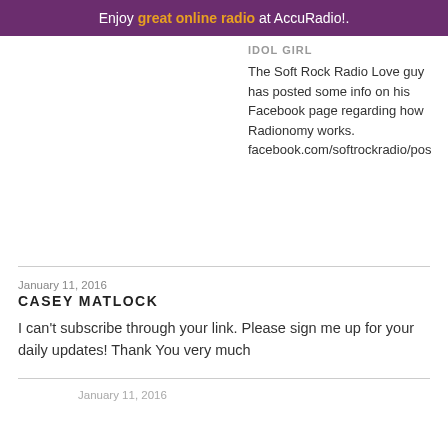Enjoy great online radio at AccuRadio!.
IDOL GIRL
The Soft Rock Radio Love guy has posted some info on his Facebook page regarding how Radionomy works. facebook.com/softrockradio/pos
January 11, 2016
CASEY MATLOCK
I can’t subscribe through your link. Please sign me up for your daily updates! Thank You very much
January 11, 2016